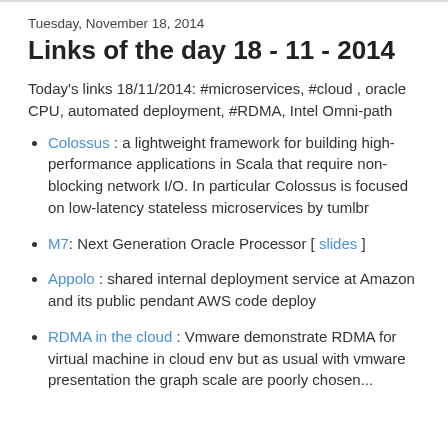Tuesday, November 18, 2014
Links of the day 18 - 11 - 2014
Today's links 18/11/2014: #microservices, #cloud , oracle CPU, automated deployment, #RDMA, Intel Omni-path
Colossus : a lightweight framework for building high-performance applications in Scala that require non-blocking network I/O. In particular Colossus is focused on low-latency stateless microservices by tumlbr
M7: Next Generation Oracle Processor [ slides ]
Appolo : shared internal deployment service at Amazon and its public pendant AWS code deploy
RDMA in the cloud : Vmware demonstrate RDMA for virtual machine in cloud env but as usual with vmware presentation the graph scale are poorly chosen...